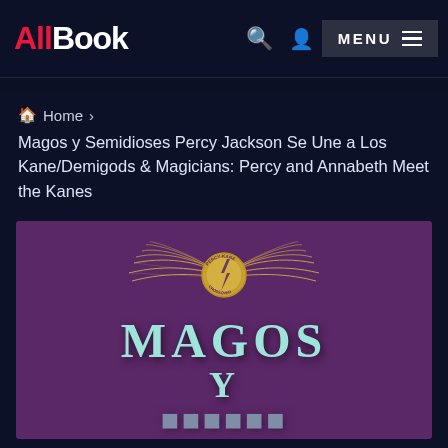AllBook | MENU
Home >
Magos y Semidioses Percy Jackson Se Une a Los Kane/Demigods & Magicians: Percy and Annabeth Meet the Kanes
[Figure (photo): Book cover showing winged emblem with gold coin center and text 'MAGOS Y' in teal letters on purple background]